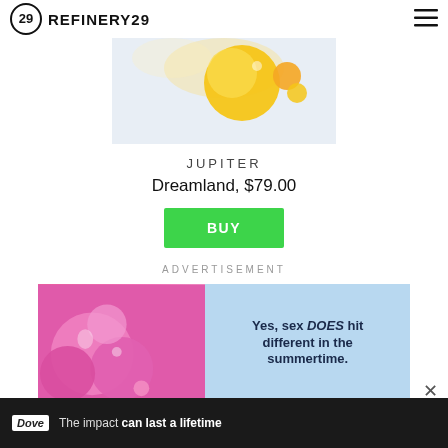REFINERY29
[Figure (photo): Product photo of Jupiter Dreamland oil droplets on white/light blue background with yellow/orange spherical drops]
JUPITER
Dreamland, $79.00
BUY
ADVERTISEMENT
[Figure (photo): Advertisement image split: left side pink/purple balloons on pink background, right side light blue background with text 'Yes, sex DOES hit different in the summertime.']
[Figure (photo): Bottom banner advertisement for Dove: 'The impact can last a lifetime' with image of person]